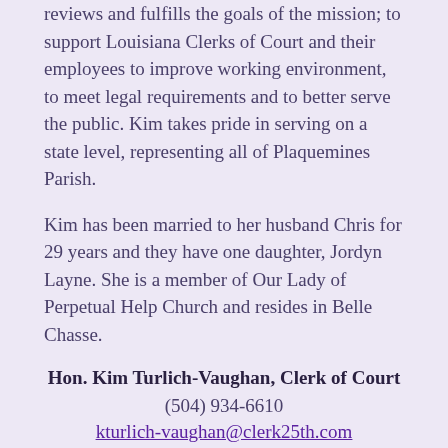reviews and fulfills the goals of the mission; to support Louisiana Clerks of Court and their employees to improve working environment, to meet legal requirements and to better serve the public. Kim takes pride in serving on a state level, representing all of Plaquemines Parish.
Kim has been married to her husband Chris for 29 years and they have one daughter, Jordyn Layne. She is a member of Our Lady of Perpetual Help Church and resides in Belle Chasse.
Hon. Kim Turlich-Vaughan, Clerk of Court
(504) 934-6610
kturlich-vaughan@clerk25th.com